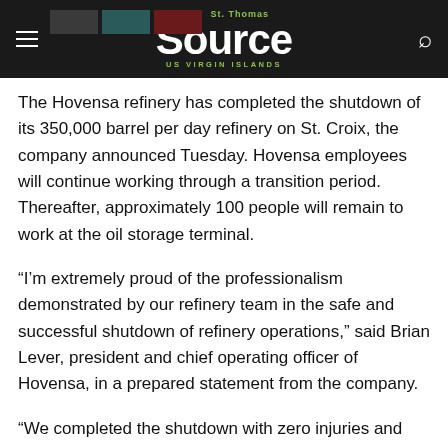The St. Thomas Source US Virgin Islands
The Hovensa refinery has completed the shutdown of its 350,000 barrel per day refinery on St. Croix, the company announced Tuesday. Hovensa employees will continue working through a transition period. Thereafter, approximately 100 people will remain to work at the oil storage terminal.
“I’m extremely proud of the professionalism demonstrated by our refinery team in the safe and successful shutdown of refinery operations,” said Brian Lever, president and chief operating officer of Hovensa, in a prepared statement from the company.
“We completed the shutdown with zero injuries and zero environmental incidents,” Lever said.